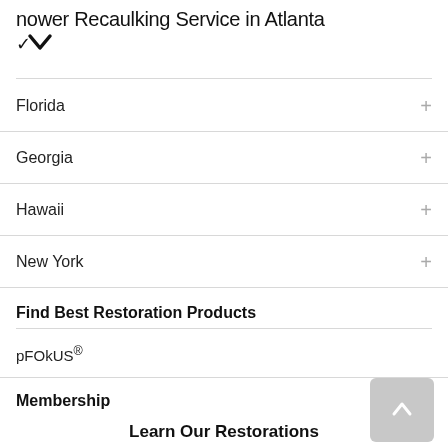hower Recaulking Service in Atlanta
Florida
Georgia
Hawaii
New York
Find Best Restoration Products
pFOkUS®
Membership
Learn Our Restorations